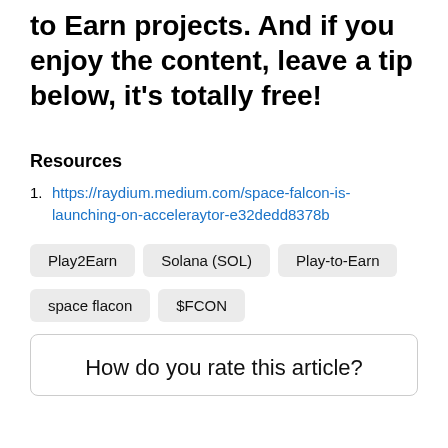to Earn projects. And if you enjoy the content, leave a tip below, it's totally free!
Resources
1. https://raydium.medium.com/space-falcon-is-launching-on-acceleraytor-e32dedd8378b
Play2Earn   Solana (SOL)   Play-to-Earn   space flacon   $FCON
How do you rate this article?